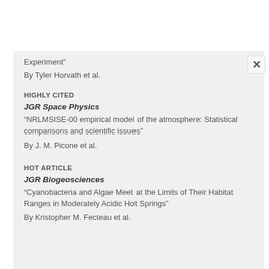Experiment"
By Tyler Horvath et al.
HIGHLY CITED
JGR Space Physics
“NRLMSISE-00 empirical model of the atmosphere: Statistical comparisons and scientific issues”
By J. M. Picone et al.
HOT ARTICLE
JGR Biogeosciences
“Cyanobacteria and Algae Meet at the Limits of Their Habitat Ranges in Moderately Acidic Hot Springs”
By Kristopher M. Fecteau et al.